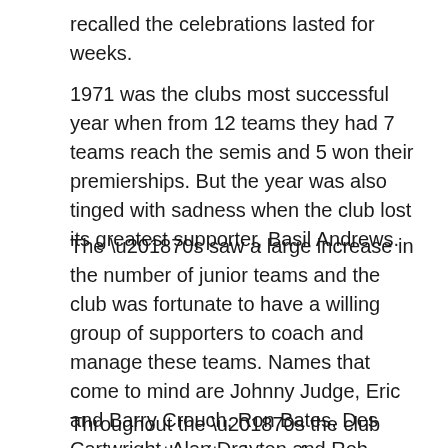recalled the celebrations lasted for weeks.
1971 was the clubs most successful year when from 12 teams they had 7 teams reach the semis and 5 won their premierships. But the year was also tinged with sadness when the club lost its greatest supporter, Basil Andrews.
The ‘70s saw a large increase in the number of junior teams and the club was fortunate to have a willing group of supporters to coach and manage these teams. Names that come to mind are Johnny Judge, Eric and Barry Crouch, Ron Bates, Des Cartwright, Alan Drayton and Rob Shepherd. Ron recalled the Windsor/ Richmond games against Riverstone which were always a tough battle, characterised by a real love-hate relationship, but all were the best of mates.
Throughout the ‘70s the club won more than its share of